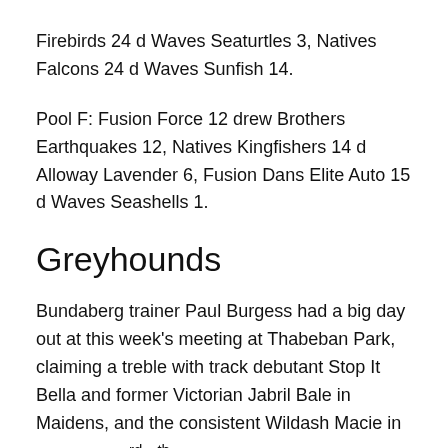Firebirds 24 d Waves Seaturtles 3, Natives Falcons 24 d Waves Sunfish 14.
Pool F: Fusion Force 12 drew Brothers Earthquakes 12, Natives Kingfishers 14 d Alloway Lavender 6, Fusion Dans Elite Auto 15 d Waves Seashells 1.
Greyhounds
Bundaberg trainer Paul Burgess had a big day out at this week's meeting at Thabeban Park, claiming a treble with track debutant Stop It Bella and former Victorian Jabril Bale in Maidens, and the consistent Wildash Macie in the Mixed 3rd/4th Grade.
Gin Gin's Ron Brook also had a good afternoon, taking out the quinella in the Novice Non Penalty with the also honest